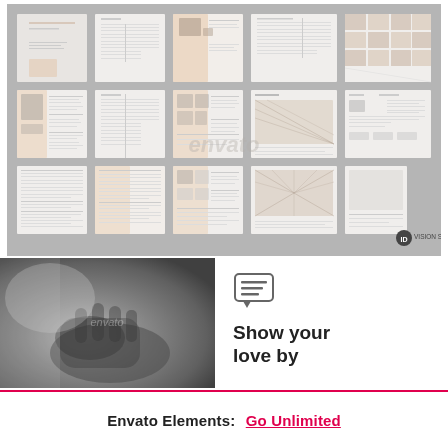[Figure (screenshot): Preview grid of document/portfolio template pages arranged in 3 rows and 5 columns on a gray background, showing various layouts with text and images. Logo 'ID VISION STUDIO' visible at bottom right.]
[Figure (photo): Black and white close-up photo of a hand, grayscale, with envato watermark overlay. Partially visible.]
Show your love by
Envato Elements:  Go Unlimited